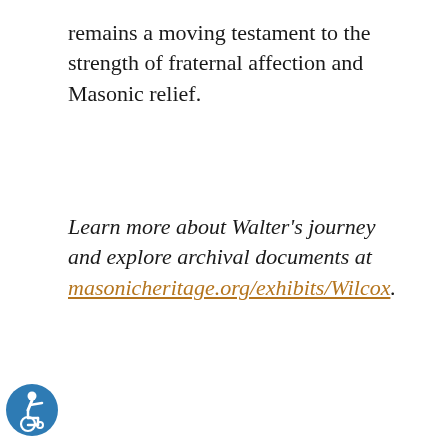remains a moving testament to the strength of fraternal affection and Masonic relief.
Learn more about Walter's journey and explore archival documents at masonicheritage.org/exhibits/Wilcox.
[Figure (illustration): Accessibility icon — blue circle with white wheelchair user symbol]